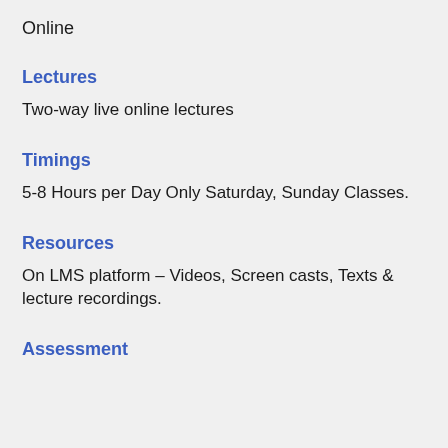Online
Lectures
Two-way live online lectures
Timings
5-8 Hours per Day Only Saturday, Sunday Classes.
Resources
On LMS platform – Videos, Screen casts, Texts & lecture recordings.
Assessment